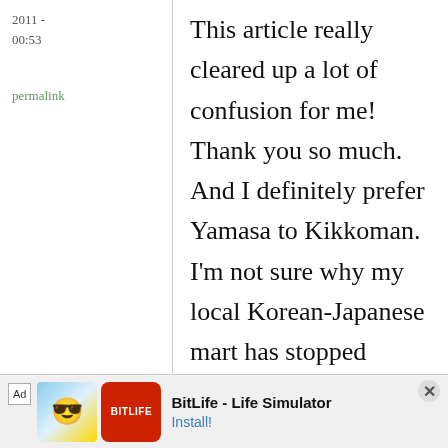2011 - 00:53
permalink
This article really cleared up a lot of confusion for me! Thank you so much. And I definitely prefer Yamasa to Kikkoman. I'm not sure why my local Korean-Japanese mart has stopped carrying it. :-( I hope you do an article on noodle dipping sauces